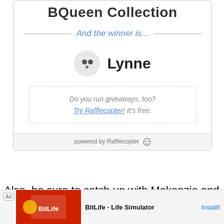BQueen Collection
And the winner is...
Lynne
Do you run giveaways, too? Try Rafflecopter! It's free.
powered by Rafflecopter
Also, be sure to catch up with Makenzie and the BQueen
[Figure (screenshot): Ad banner for BitLife - Life Simulator mobile game]